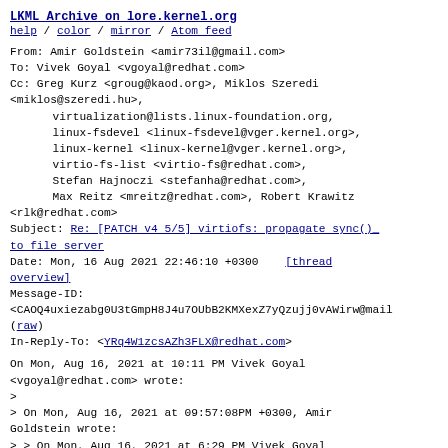LKML Archive on lore.kernel.org
help / color / mirror / Atom feed
From: Amir Goldstein <amir73il@gmail.com>
To: Vivek Goyal <vgoyal@redhat.com>
Cc: Greg Kurz <groug@kaod.org>, Miklos Szeredi <miklos@szeredi.hu>,
        virtualization@lists.linux-foundation.org,
        linux-fsdevel <linux-fsdevel@vger.kernel.org>,
        linux-kernel <linux-kernel@vger.kernel.org>,
        virtio-fs-list <virtio-fs@redhat.com>,
        Stefan Hajnoczi <stefanha@redhat.com>,
        Max Reitz <mreitz@redhat.com>, Robert Krawitz <rlk@redhat.com>
Subject: Re: [PATCH v4 5/5] virtiofs: propagate sync() to file server
Date: Mon, 16 Aug 2021 22:46:10 +0300   [thread overview]
Message-ID:
<CAOQ4uxiezabg0U3tGmpH8J4u7OUbB2KMXexZ7yQzujj0vAWirw@mai...
(raw)
In-Reply-To: <YRq4W1zcsAZh3FLX@redhat.com>
On Mon, Aug 16, 2021 at 10:11 PM Vivek Goyal
<vgoyal@redhat.com> wrote:
>
> On Mon, Aug 16, 2021 at 09:57:08PM +0300, Amir Goldstein wrote:
> > On Mon, Aug 16, 2021 at 6:29 PM Vivek Goyal
<vgoyal@redhat.com> wrote: